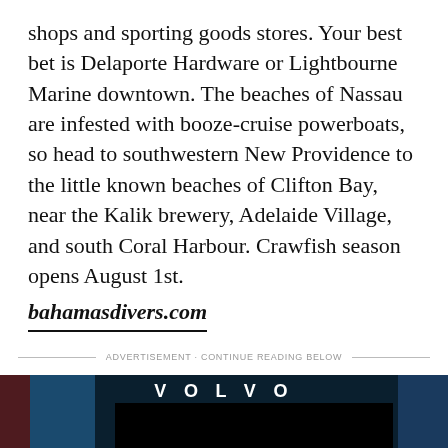shops and sporting goods stores. Your best bet is Delaporte Hardware or Lightbourne Marine downtown. The beaches of Nassau are infested with booze-cruise powerboats, so head to southwestern New Providence to the little known beaches of Clifton Bay, near the Kalik brewery, Adelaide Village, and south Coral Harbour. Crawfish season opens August 1st. bahamasdivers.com
ADVERTISEMENT · CONTINUE READING BELOW
[Figure (other): Volvo advertisement banner with dark blue background and geometric color blocks on left and right sides, with VOLVO logo text centered at top and a dark inner box below.]